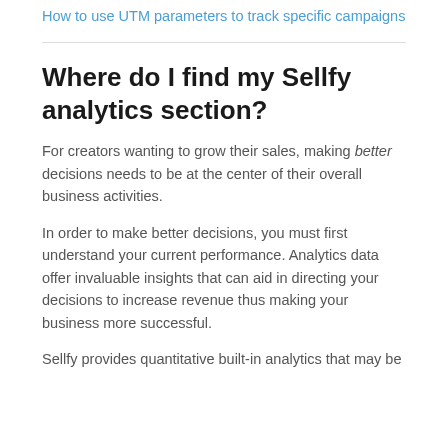How to use UTM parameters to track specific campaigns
Where do I find my Sellfy analytics section?
For creators wanting to grow their sales, making better decisions needs to be at the center of their overall business activities.
In order to make better decisions, you must first understand your current performance. Analytics data offer invaluable insights that can aid in directing your decisions to increase revenue thus making your business more successful.
Sellfy provides quantitative built-in analytics that may be